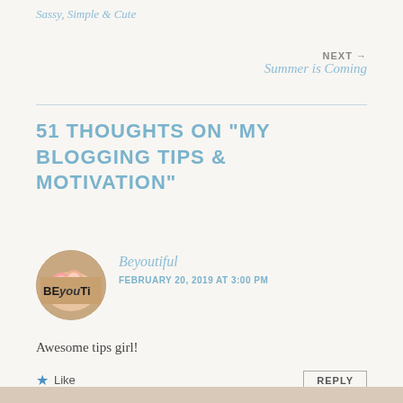Sassy, Simple & Cute
NEXT → Summer is Coming
51 THOUGHTS ON "MY BLOGGING TIPS & MOTIVATION"
[Figure (photo): Circular avatar photo with BEyouTi logo and floral background]
Beyoutiful
FEBRUARY 20, 2019 AT 3:00 PM
Awesome tips girl!
★ Like   REPLY